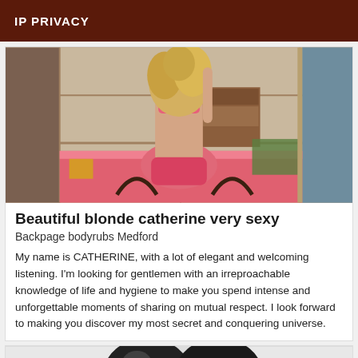IP PRIVACY
[Figure (photo): A woman with blonde hair wearing pink lingerie, viewed from behind, sitting on a pink bed in a mirrored room with wooden furniture visible in the reflection.]
Beautiful blonde catherine very sexy
Backpage bodyrubs Medford
My name is CATHERINE, with a lot of elegant and welcoming listening. I'm looking for gentlemen with an irreproachable knowledge of life and hygiene to make you spend intense and unforgettable moments of sharing on mutual respect. I look forward to making you discover my most secret and conquering universe.
[Figure (photo): Partial view of a person, mostly obscured, showing dark clothing against a light background.]